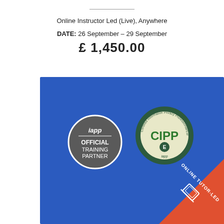Online Instructor Led (Live), Anywhere
DATE: 26 September – 29 September
£ 1,450.00
[Figure (logo): Blue banner with iapp Official Training Partner badge and CIPP/E certification badge, plus an orange corner ribbon saying ONLINE TUTOR-LED with a laptop icon]